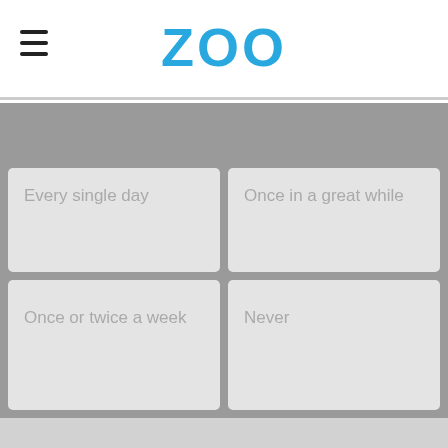ZOO
Every single day
Once in a great while
Once or twice a week
Never
Advertisement